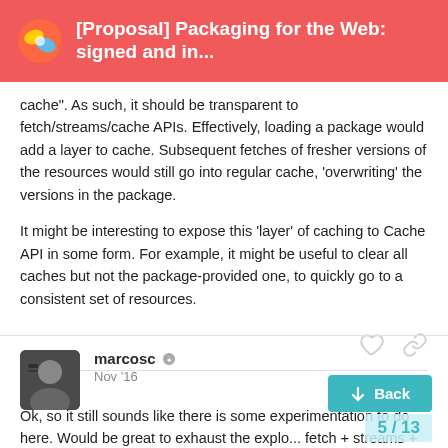[Proposal] Packaging for the Web: signed and in...
cache". As such, it should be transparent to fetch/streams/cache APIs. Effectively, loading a package would add a layer to cache. Subsequent fetches of fresher versions of the resources would still go into regular cache, 'overwriting' the versions in the package.
It might be interesting to expose this 'layer' of caching to Cache API in some form. For example, it might be useful to clear all caches but not the package-provided one, to quickly go to a consistent set of resources.
marcosc   Nov '16
Ok, so it still sounds like there is some experimentation to do here. Would be great to exhaust the explo... fetch + streams + cache API (over H/2). As...